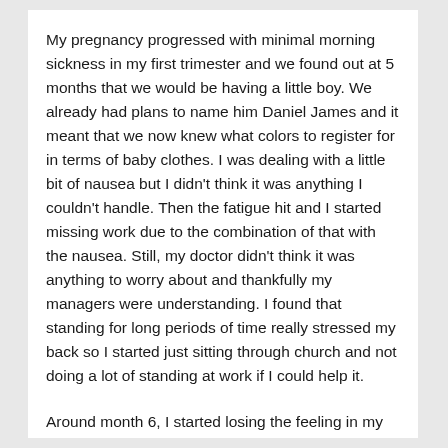My pregnancy progressed with minimal morning sickness in my first trimester and we found out at 5 months that we would be having a little boy. We already had plans to name him Daniel James and it meant that we now knew what colors to register for in terms of baby clothes. I was dealing with a little bit of nausea but I didn't think it was anything I couldn't handle. Then the fatigue hit and I started missing work due to the combination of that with the nausea. Still, my doctor didn't think it was anything to worry about and thankfully my managers were understanding. I found that standing for long periods of time really stressed my back so I started just sitting through church and not doing a lot of standing at work if I could help it.
Around month 6, I started losing the feeling in my hands and when I went to the doctor about it, she commented that they were swelling. Being pregnant, the only thought was carpal tunnel so she gave me a water pill to take very sparingly and some hand braces. In hindsight, I think it was the first sign of what was to come a few weeks later.